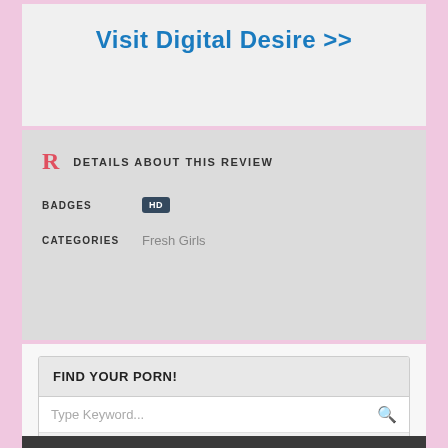Visit Digital Desire >>
DETAILS ABOUT THIS REVIEW
BADGES: HD
CATEGORIES: Fresh Girls
FIND YOUR PORN!
Type Keyword...